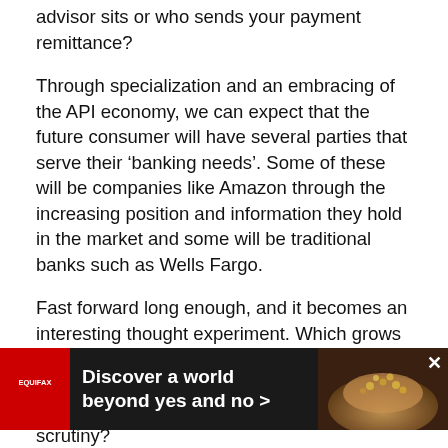advisor sits or who sends your payment remittance?
Through specialization and an embracing of the API economy, we can expect that the future consumer will have several parties that serve their ‘banking needs’. Some of these will be companies like Amazon through the increasing position and information they hold in the market and some will be traditional banks such as Wells Fargo.
Fast forward long enough, and it becomes an interesting thought experiment. Which grows in prominence, the higher margin specialized businesses or the one stop shop business that also faces the highest level of regulatory scrutiny?
One thing is however certain, our concept of a “bank” is quickly becoming outdated. The banks created during the industrial revolution were critical in building capitalist societies. Are we at a different point in history where the
[Figure (other): Equifax advertisement banner: dark background with Equifax red circular logo on left, bold white text 'Discover a world beyond yes and no >' in center, decorative image of hands with seeds/coins on right, with close (x) button.]